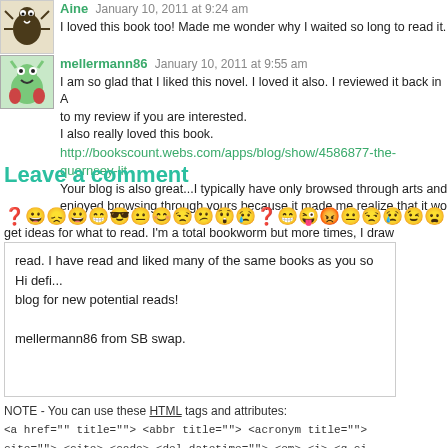Aine - I loved this book too! Made me wonder why I waited so long to read it.
mellermann86 - I am so glad that I liked this novel. I loved it also. I reviewed it back in A... to my review if you are interested.
I also really loved this book.
http://bookscount.webs.com/apps/blog/show/4586877-the-quernsey-lit...
Your blog is also great...I typically have only browsed through arts and enjoyed browsing through yours because it made me realize that it wo... get ideas for what to read. I'm a total bookworm but more times, I draw... read. I have read and liked many of the same books as you so Hi defi... blog for new potential reads!

mellermann86 from SB swap.
Leave a comment
NOTE - You can use these HTML tags and attributes:
<a href="" title=""> <abbr title=""> <acronym title="">
cite=""> <cite> <code> <del datetime=""> <em> <i> <q ci...
<strike> <strong>
NAME
EMAIL
Website URL
SUBMIT